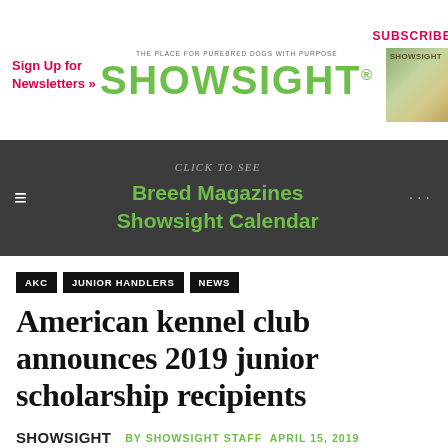Sign Up for Newsletters »
[Figure (logo): Showsight magazine logo with tagline 'The Place for Purebred Dogs with Purpose']
SUBSCRIBE
[Figure (photo): Showsight magazine cover thumbnail]
≡  Click To See  Breed Magazines  Showsight Calendar  ...
AKC
JUNIOR HANDLERS
NEWS
American kennel club announces 2019 junior scholarship recipients
[Figure (logo): Showsight small logo in byline]
BY SHOWSIGHT STAFF APRIL 15, 2019